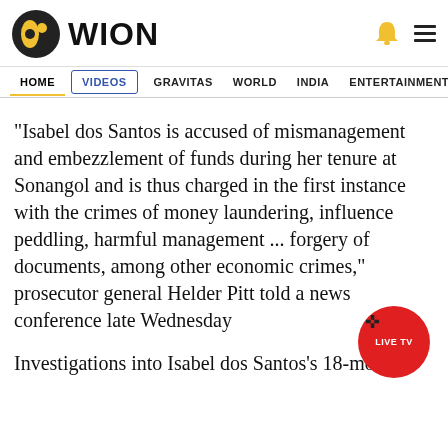[Figure (logo): WION news channel logo with black and yellow globe icon and WION wordmark in black]
HOME  VIDEOS  GRAVITAS  WORLD  INDIA  ENTERTAINMENT  SPORTS
"Isabel dos Santos is accused of mismanagement and embezzlement of funds during her tenure at Sonangol and is thus charged in the first instance with the crimes of money laundering, influence peddling, harmful management ... forgery of documents, among other economic crimes," prosecutor general Helder Pitt told a news conference late Wednesday
Investigations into Isabel dos Santos's 18-month